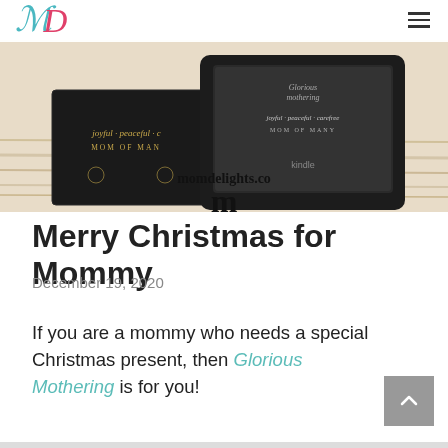MD logo and navigation hamburger menu
[Figure (photo): Hero image showing black book/kindle products with text 'joyful · peaceful · carefree MOM OF MANY' and a Kindle device on a wooden surface, with 'momdelights.co' watermark]
Merry Christmas for Mommy
December 19, 2020
If you are a mommy who needs a special Christmas present, then Glorious Mothering is for you!